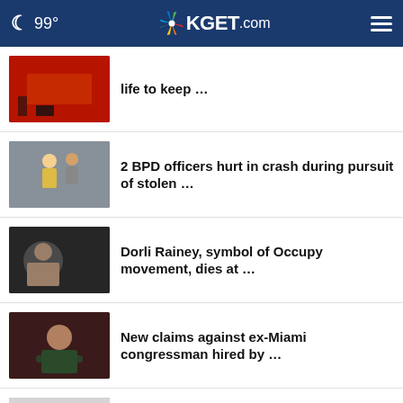99° KGET.com
life to keep …
2 BPD officers hurt in crash during pursuit of stolen …
Dorli Rainey, symbol of Occupy movement, dies at …
New claims against ex-Miami congressman hired by …
Gary Busey accused of sex offenses at New Jersey …
Couple on 1st date breaks into church to play piano